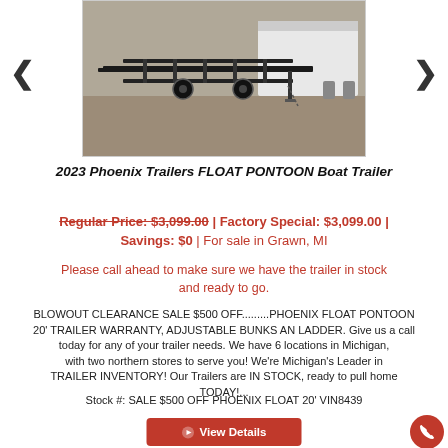[Figure (photo): Photo of a black pontoon boat trailer on gravel/dirt surface with a white enclosed trailer visible in the background]
2023 Phoenix Trailers FLOAT PONTOON Boat Trailer
Regular Price: $3,099.00 | Factory Special: $3,099.00 | Savings: $0 | For sale in Grawn, MI
Please call ahead to make sure we have the trailer in stock and ready to go.
BLOWOUT CLEARANCE SALE $500 OFF.........PHOENIX FLOAT PONTOON 20' TRAILER WARRANTY, ADJUSTABLE BUNKS AN LADDER. Give us a call today for any of your trailer needs. We have 6 locations in Michigan, with two northern stores to serve you! We're Michigan's Leader in TRAILER INVENTORY! Our Trailers are IN STOCK, ready to pull home TODAY!...
Stock #: SALE $500 OFF PHOENIX FLOAT 20' VIN8439